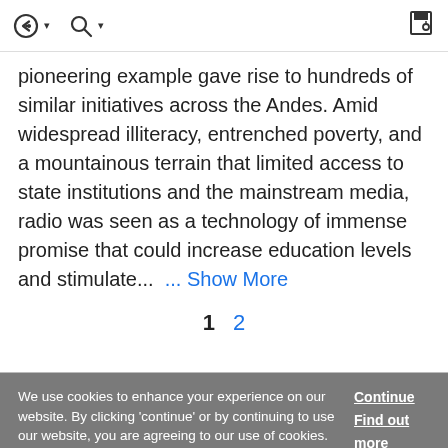[toolbar icons: back/forward, search, save]
pioneering example gave rise to hundreds of similar initiatives across the Andes. Amid widespread illiteracy, entrenched poverty, and a mountainous terrain that limited access to state institutions and the mainstream media, radio was seen as a technology of immense promise that could increase education levels and stimulate... ... Show More
1  2
We use cookies to enhance your experience on our website. By clicking 'continue' or by continuing to use our website, you are agreeing to our use of cookies. You can change your cookie settings at any time.